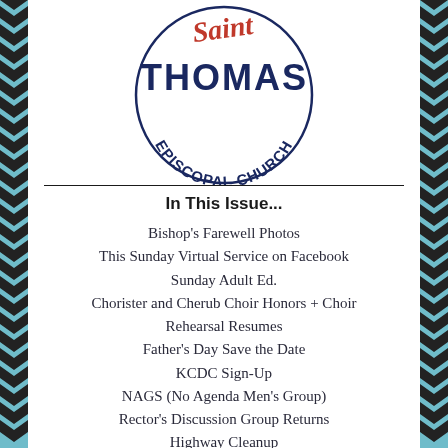[Figure (logo): Saint Thomas Episcopal Church circular logo with 'Saint' in red cursive script, 'THOMAS' in navy blue large letters, and 'EPISCOPAL CHURCH' arched below in navy blue]
In This Issue...
Bishop's Farewell Photos
This Sunday Virtual Service on Facebook
Sunday Adult Ed.
Chorister and Cherub Choir Honors + Choir Rehearsal Resumes
Father's Day Save the Date
KCDC Sign-Up
NAGS (No Agenda Men's Group)
Rector's Discussion Group Returns
Highway Cleanup